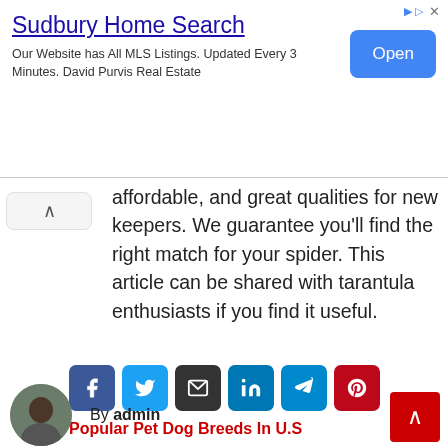[Figure (screenshot): Advertisement banner for Sudbury Home Search with blue Open button]
affordable, and great qualities for new keepers. We guarantee you'll find the right match for your spider. This article can be shared with tarantula enthusiasts if you find it useful.
[Figure (other): Social share buttons: Facebook, Twitter, Email, LinkedIn, Telegram, Pinterest]
« Most Popular Pet Dog Breeds In U.S
By admin